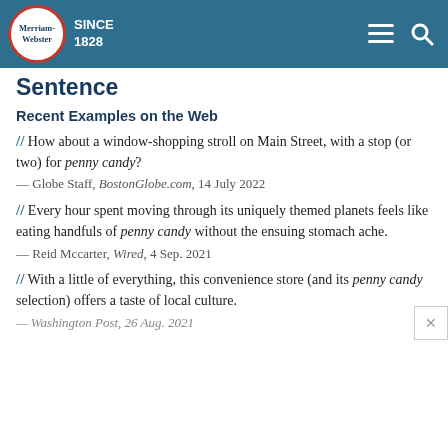Merriam-Webster SINCE 1828
Sentence
Recent Examples on the Web
// How about a window-shopping stroll on Main Street, with a stop (or two) for penny candy?
— Globe Staff, BostonGlobe.com, 14 July 2022
// Every hour spent moving through its uniquely themed planets feels like eating handfuls of penny candy without the ensuing stomach ache.
— Reid Mccarter, Wired, 4 Sep. 2021
// With a little of everything, this convenience store (and its penny candy selection) offers a taste of local culture.
— Washington Post, 26 Aug. 2021